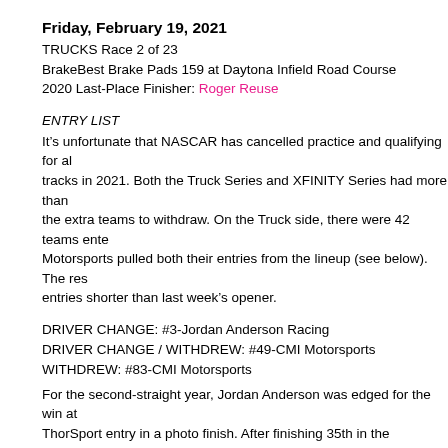Friday, February 19, 2021
TRUCKS Race 2 of 23
BrakeBest Brake Pads 159 at Daytona Infield Road Course
2020 Last-Place Finisher: Roger Reuse
ENTRY LIST
It’s unfortunate that NASCAR has cancelled practice and qualifying for all tracks in 2021. Both the Truck Series and XFINITY Series had more than the extra teams to withdraw. On the Truck side, there were 42 teams entered. Motorsports pulled both their entries from the lineup (see below). The result entries shorter than last week’s opener.
DRIVER CHANGE: #3-Jordan Anderson Racing
DRIVER CHANGE / WITHDREW: #49-CMI Motorsports
WITHDREW: #83-CMI Motorsports
For the second-straight year, Jordan Anderson was edged for the win at ThorSport entry in a photo finish. After finishing 35th in the inaugural race, he will not run the road course on Friday. Rejoining the team is Bobby Re with Clay Greenfield Motorsports was withdrawn last year. Reuse’s most 2019 at Mosport, where he and brother Roger Reuse ran two Jordan And trucks. Roger had also been entered in this race for CMI Motorsports, loo from his first-lap clutch issues in the 2020 running. Unfortunately, his #49 along with teammate Tim Viens in the #83.
DRIVER CHANGE: #8-NEMCO Motorsports